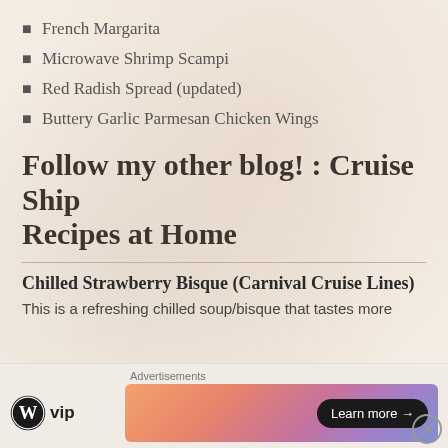French Margarita
Microwave Shrimp Scampi
Red Radish Spread (updated)
Buttery Garlic Parmesan Chicken Wings
Follow my other blog! : Cruise Ship Recipes at Home
Chilled Strawberry Bisque (Carnival Cruise Lines)
This is a refreshing chilled soup/bisque that tastes more
Advertisements